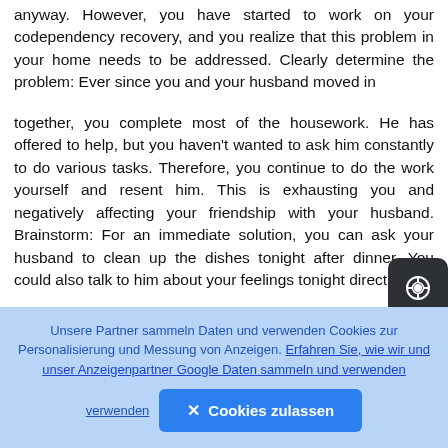anyway. However, you have started to work on your codependency recovery, and you realize that this problem in your home needs to be addressed. Clearly determine the problem: Ever since you and your husband moved in
together, you complete most of the housework. He has offered to help, but you haven't wanted to ask him constantly to do various tasks. Therefore, you continue to do the work yourself and resent him. This is exhausting you and negatively affecting your friendship with your husband. Brainstorm: For an immediate solution, you can ask your husband to clean up the dishes tonight after dinner. You could also talk to him about your feelings tonight directly
Unsere Partner sammeln Daten und verwenden Cookies zur Personalisierung und Messung von Anzeigen. Erfahren Sie, wie wir und unser Anzeigenpartner Google Daten sammeln und verwenden
✕ Cookies zulassen